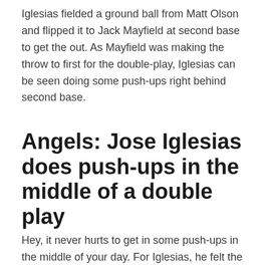Iglesias fielded a ground ball from Matt Olson and flipped it to Jack Mayfield at second base to get the out. As Mayfield was making the throw to first for the double-play, Iglesias can be seen doing some push-ups right behind second base.
Angels: Jose Iglesias does push-ups in the middle of a double play
Hey, it never hurts to get in some push-ups in the middle of your day. For Iglesias, he felt the perfect time was in the middle of a successful double-play.
The Angels ended up defeating the Athletics by the score of 1-0 in Saturday afternoon baseball. The man responsible for Los Angeles' lone run was, of course,